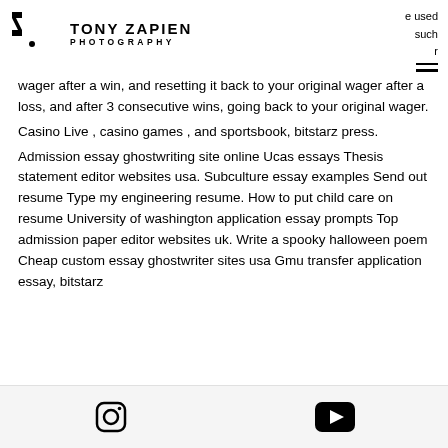Tony Zapien Photography — logo and navigation header
e used such r
wager after a win, and resetting it back to your original wager after a loss, and after 3 consecutive wins, going back to your original wager.
Casino Live , casino games , and sportsbook, bitstarz press.
Admission essay ghostwriting site online Ucas essays Thesis statement editor websites usa. Subculture essay examples Send out resume Type my engineering resume. How to put child care on resume University of washington application essay prompts Top admission paper editor websites uk. Write a spooky halloween poem Cheap custom essay ghostwriter sites usa Gmu transfer application essay, bitstarz
Instagram icon, YouTube icon